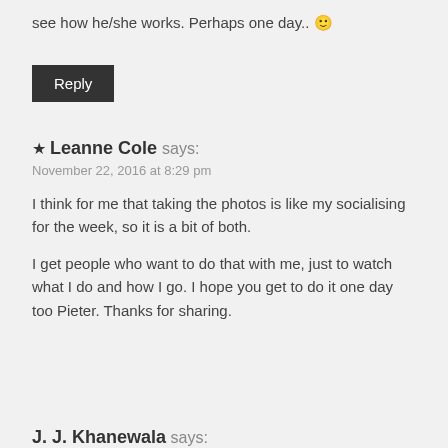see how he/she works. Perhaps one day.. 🙂
Reply
★ Leanne Cole says:
November 22, 2016 at 8:29 pm
I think for me that taking the photos is like my socialising for the week, so it is a bit of both.
I get people who want to do that with me, just to watch what I do and how I go. I hope you get to do it one day too Pieter. Thanks for sharing.
J. J. Khanewala says: